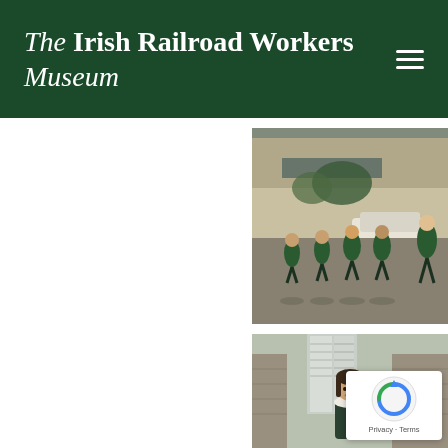The Irish Railroad Workers Museum
[Figure (photo): Vintage color photograph of girls in green dresses performing Irish dancing on a street during a parade, with cars and buildings in the background.]
[Figure (photo): Vintage color photograph of a young girl in a dark dress with white lace collar standing in front of a building with shutters and stone pillars.]